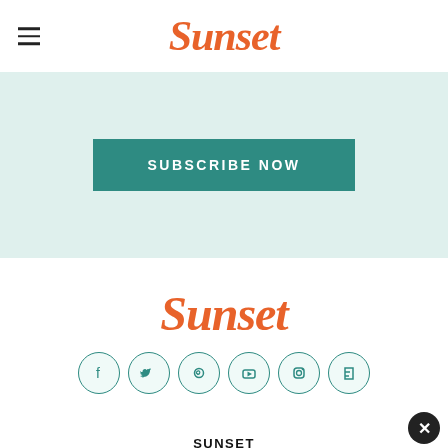Sunset
SUBSCRIBE NOW
[Figure (logo): Sunset magazine logo in orange script font]
[Figure (infographic): Social media icons row: Facebook, Twitter, Pinterest, YouTube, Instagram, Flipboard — teal circles with outline style]
SUNSET
Food & Drink